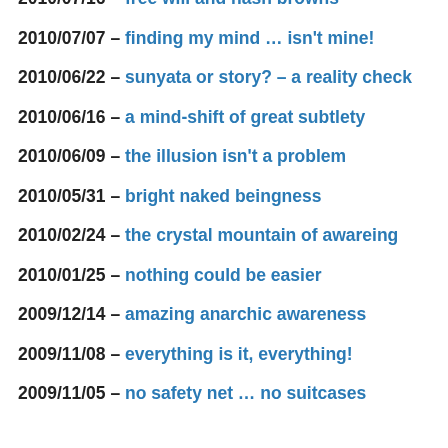2010/07/16 – free will and hash browns
2010/07/07 – finding my mind … isn't mine!
2010/06/22 – sunyata or story? – a reality check
2010/06/16 – a mind-shift of great subtlety
2010/06/09 – the illusion isn't a problem
2010/05/31 – bright naked beingness
2010/02/24 – the crystal mountain of awareing
2010/01/25 – nothing could be easier
2009/12/14 – amazing anarchic awareness
2009/11/08 – everything is it, everything!
2009/11/05 – no safety net … no suitcases